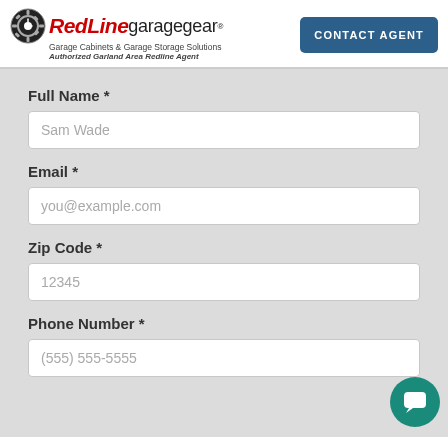[Figure (logo): RedLine Garage Gear logo with red and black text, gear icon, and taglines]
CONTACT AGENT
Full Name *
Sam Wade
Email *
you@example.com
Zip Code *
12345
Phone Number *
(555) 555-5555